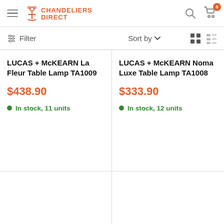Chandeliers Direct — navigation header with hamburger menu, logo, search, and cart (0 items)
Filter   Sort by   [grid view] [list view]
LUCAS + McKEARN La Fleur Table Lamp TA1009
$438.90
In stock, 11 units
LUCAS + McKEARN Noma Luxe Table Lamp TA1008
$333.90
In stock, 12 units